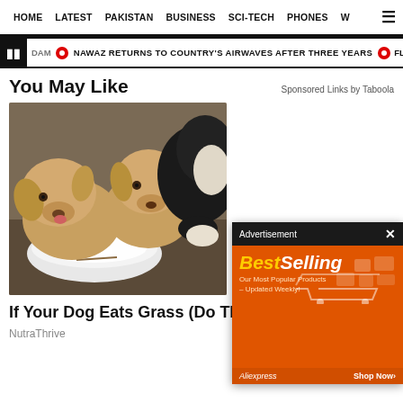HOME  LATEST  PAKISTAN  BUSINESS  SCI-TECH  PHONES  W
NAWAZ RETURNS TO COUNTRY'S AIRWAVES AFTER THREE YEARS
You May Like
Sponsored Links by Taboola
[Figure (photo): Two puppies eating from a white plate, one golden/cream colored, one black, on the ground]
[Figure (infographic): Advertisement banner: BestSelling - Our Most Popular Products Updated Weekly - AliExpress Shop Now]
If Your Dog Eats Grass (Do This Every Day)
NutraThrive